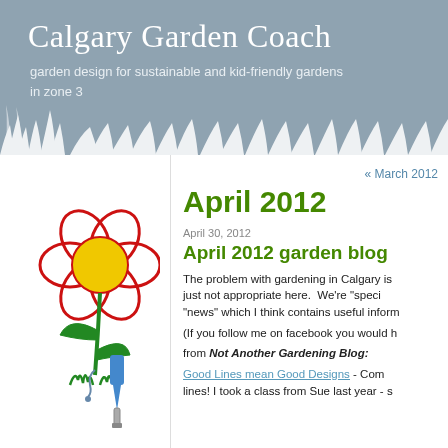Calgary Garden Coach
garden design for sustainable and kid-friendly gardens in zone 3
[Figure (illustration): A cartoon drawing of a red flower with a yellow center, green stem and leaves, and a blue garden trowel with a small figure beside it]
About
Pages
« March 2012
April 2012
April 30, 2012
April 2012 garden blog
The problem with gardening in Calgary is just not appropriate here. We're "speci "news" which I think contains useful inform
(If you follow me on facebook you would h
from Not Another Gardening Blog:
Good Lines mean Good Designs - Com lines! I took a class from Sue last year - s